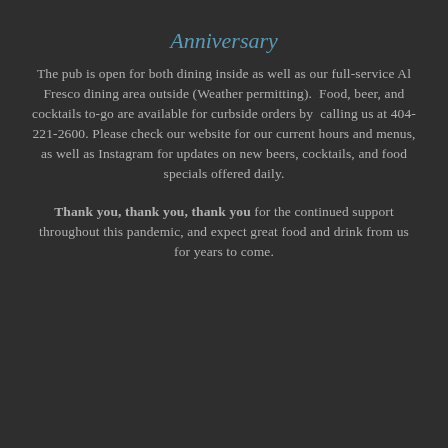Anniversary
The pub is open for both dining inside as well as our full-service Al Fresco dining area outside (Weather permitting).  Food, beer, and cocktails to-go are available for curbside orders by calling us at 404-221-2600. Please check our website for our current hours and menus, as well as Instagram for updates on new beers, cocktails, and food specials offered daily.
Thank you, thank you, thank you for the continued support throughout this pandemic, and expect great food and drink from us for years to come.